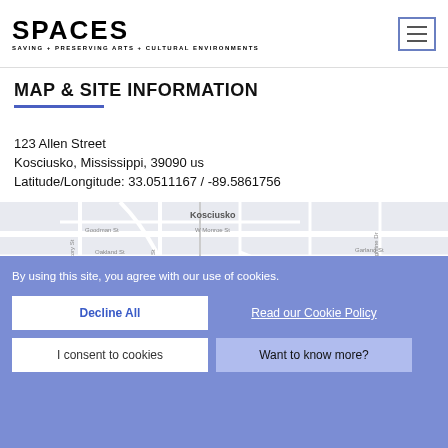SPACES — SAVING + PRESERVING ARTS + CULTURAL ENVIRONMENTS
MAP & SITE INFORMATION
123 Allen Street
Kosciusko, Mississippi, 39090 us
Latitude/Longitude: 33.0511167 / -89.5861756
[Figure (map): Street map of Kosciusko, Mississippi showing local streets including Goodman St, W Monroe St, Garland St, Oakland St, S Wells St, Galloway Dr, Hammond Cir, and other roads.]
By using this site, you agree with our use of cookies.
Decline All
Read our Cookie Policy
I consent to cookies
Want to know more?